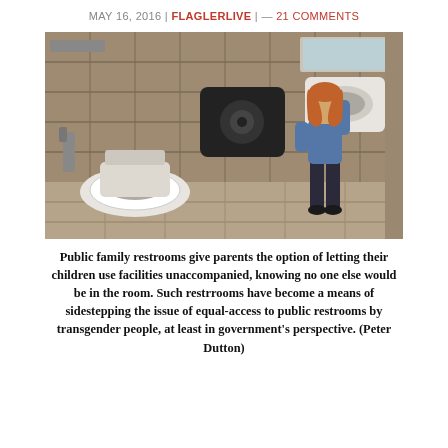MAY 16, 2016 | FLAGLERLIVE | — 21 COMMENTS
[Figure (photo): A young child with long red hair stands at a public restroom sink, with a toilet and paper towel dispenser visible in the tiled bathroom.]
Public family restrooms give parents the option of letting their children use facilities unaccompanied, knowing no one else would be in the room. Such restrrooms have become a means of sidestepping the issue of equal-access to public restrooms by transgender people, at least in government's perspective. (Peter Dutton)